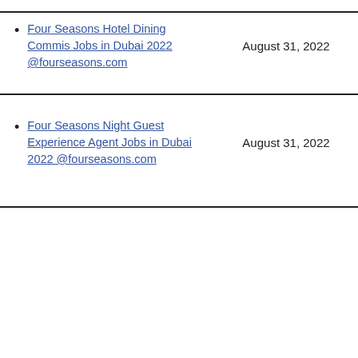Four Seasons Hotel Dining Commis Jobs in Dubai 2022 @fourseasons.com
August 31, 2022
Four Seasons Night Guest Experience Agent Jobs in Dubai 2022 @fourseasons.com
August 31, 2022